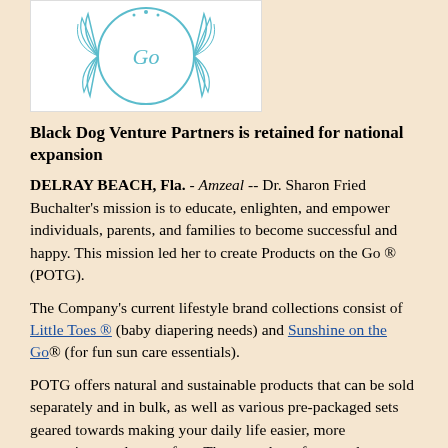[Figure (logo): Circular logo with teal/blue decorative feather or leaf design and stylized 'Go' text in cursive, white background with teal border elements]
Black Dog Venture Partners is retained for national expansion
DELRAY BEACH, Fla. - Amzeal -- Dr. Sharon Fried Buchalter's mission is to educate, enlighten, and empower individuals, parents, and families to become successful and happy. This mission led her to create Products on the Go ® (POTG).
The Company's current lifestyle brand collections consist of Little Toes ® (baby diapering needs) and Sunshine on the Go® (for fun sun care essentials).
POTG offers natural and sustainable products that can be sold separately and in bulk, as well as various pre-packaged sets geared towards making your daily life easier, more convenient, and stress-free. These products feature plant-based materials such as bamboo, and patent pending certified natural sunscreens.
A portion of every sale from Products on the Go® is used to donate products to hospitals, pediatrician offices, clinics